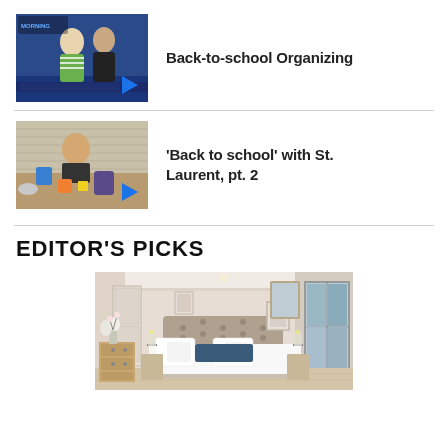[Figure (screenshot): Video thumbnail showing two women on a TV set, one in striped green outfit, one in black. Blue play button overlay. Title: Back-to-school Organizing]
Back-to-school Organizing
[Figure (screenshot): Video thumbnail showing a woman with school supplies on a table including shoes, bags, and colorful containers. Blue play button overlay. Title: 'Back to school' with St. Laurent, pt. 2]
'Back to school' with St. Laurent, pt. 2
EDITOR'S PICKS
[Figure (photo): Interior photo of a well-lit bedroom with a white bed, tufted headboard, white pillows, blue accent pillow, wood dresser with orchid, framed art, glass door to outside, warm neutral walls.]